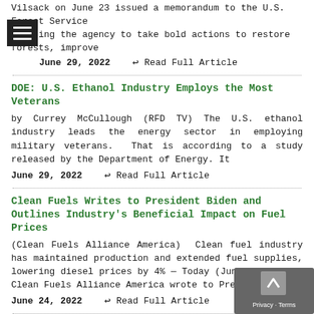Vilsack on June 23 issued a memorandum to the U.S. Forest Service directing the agency to take bold actions to restore forests, improve
June 29, 2022   ↩ Read Full Article
DOE: U.S. Ethanol Industry Employs the Most Veterans
by Currey McCullough (RFD TV) The U.S. ethanol industry leads the energy sector in employing military veterans. That is according to a study released by the Department of Energy. It
June 29, 2022   ↩ Read Full Article
Clean Fuels Writes to President Biden and Outlines Industry's Beneficial Impact on Fuel Prices
(Clean Fuels Alliance America)  Clean fuel industry has maintained production and extended fuel supplies, lowering diesel prices by 4% — Today (June 22, 2022), Clean Fuels Alliance America wrote to President
June 24, 2022   ↩ Read Full Article
Ethanol vs. Petroleum-Based Fuel Carbon Emissions
[Figure (photo): Privacy overlay with chevron-up icon and Privacy/Terms link]